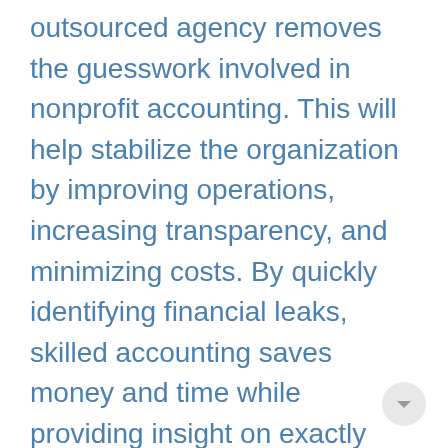outsourced agency removes the guesswork involved in nonprofit accounting. This will help stabilize the organization by improving operations, increasing transparency, and minimizing costs. By quickly identifying financial leaks, skilled accounting saves money and time while providing insight on exactly where the money is being spent.